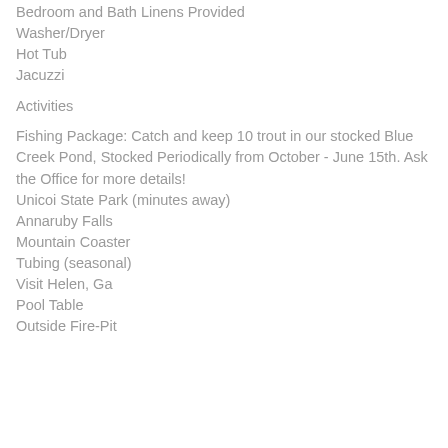Bedroom and Bath Linens Provided
Washer/Dryer
Hot Tub
Jacuzzi
Activities
Fishing Package: Catch and keep 10 trout in our stocked Blue Creek Pond, Stocked Periodically from October - June 15th. Ask the Office for more details!
Unicoi State Park (minutes away)
Annaruby Falls
Mountain Coaster
Tubing (seasonal)
Visit Helen, Ga
Pool Table
Outside Fire-Pit